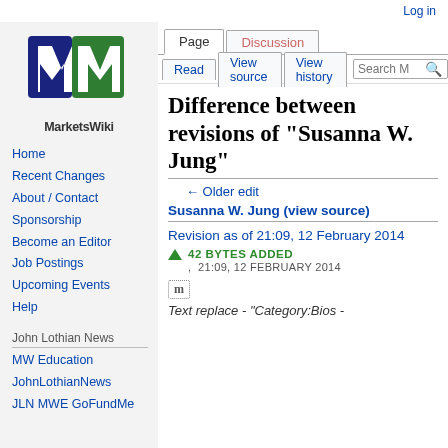Log in
[Figure (logo): MarketsWiki logo with blue and green stylized M]
Difference between revisions of "Susanna W. Jung"
← Older edit
Susanna W. Jung (view source)
Revision as of 21:09, 12 February 2014
42 BYTES ADDED
21:09, 12 FEBRUARY 2014
m
Text replace - "Category:Bios -
Home
Recent Changes
About / Contact
Sponsorship
Become an Editor
Job Postings
Upcoming Events
Help
John Lothian News
MW Education
JohnLothianNews
JLN MWE GoFundMe